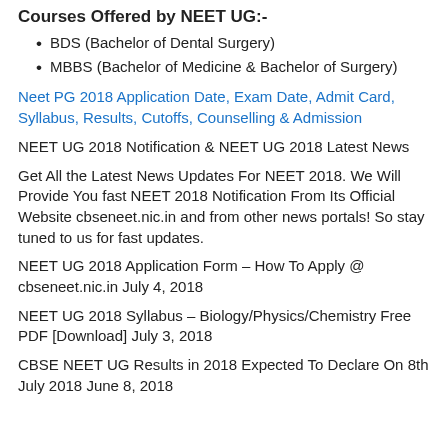Courses Offered by NEET UG:-
BDS (Bachelor of Dental Surgery)
MBBS (Bachelor of Medicine & Bachelor of Surgery)
Neet PG 2018 Application Date, Exam Date, Admit Card, Syllabus, Results, Cutoffs, Counselling & Admission
NEET UG 2018 Notification & NEET UG 2018 Latest News
Get All the Latest News Updates For NEET 2018. We Will Provide You fast NEET 2018 Notification From Its Official Website cbseneet.nic.in and from other news portals! So stay tuned to us for fast updates.
NEET UG 2018 Application Form – How To Apply @ cbseneet.nic.in July 4, 2018
NEET UG 2018 Syllabus – Biology/Physics/Chemistry Free PDF [Download] July 3, 2018
CBSE NEET UG Results in 2018 Expected To Declare On 8th July 2018 June 8, 2018